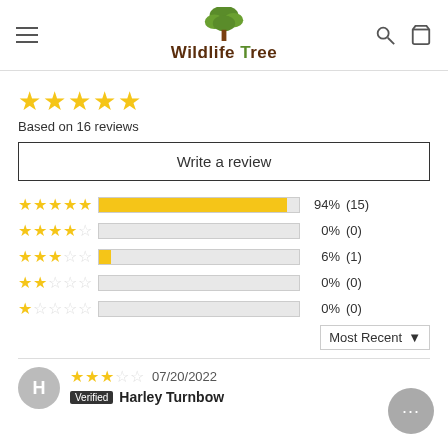Wildlife Tree
[Figure (other): Five golden stars rating display (large)]
Based on 16 reviews
Write a review
[Figure (bar-chart): Star rating distribution]
Most Recent ▾
[Figure (other): Reviewer avatar circle with letter H]
07/20/2022
Verified  Harley Turnbow